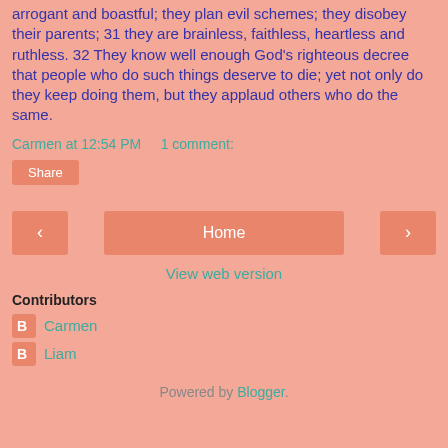arrogant and boastful; they plan evil schemes; they disobey their parents; 31 they are brainless, faithless, heartless and ruthless. 32 They know well enough God's righteous decree that people who do such things deserve to die; yet not only do they keep doing them, but they applaud others who do the same.
Carmen at 12:54 PM    1 comment:
Share
< Home >
View web version
Contributors
Carmen
Liam
Powered by Blogger.